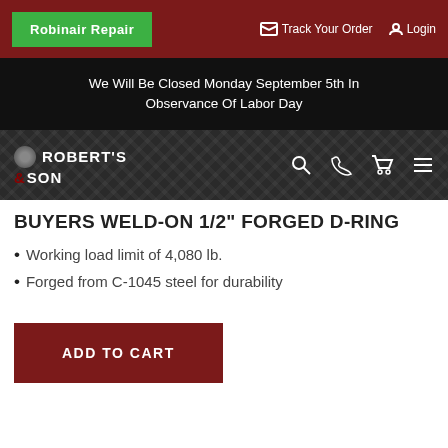Robinair Repair | Track Your Order | Login
We Will Be Closed Monday September 5th In Observance Of Labor Day
[Figure (logo): Roberts & Son logo on diamond plate background with search, phone, cart, and menu icons]
BUYERS WELD-ON 1/2" FORGED D-RING
Working load limit of 4,080 lb.
Forged from C-1045 steel for durability
ADD TO CART